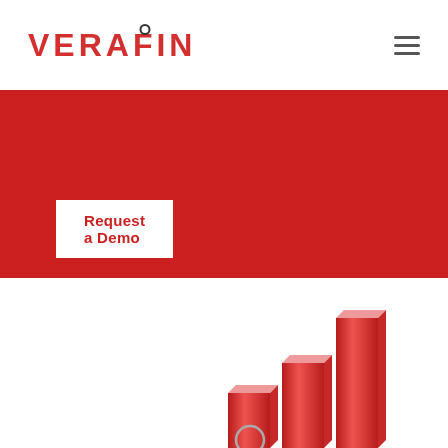VERAFIN
Request a Demo
[Figure (illustration): Partial view of a 3D red bar chart showing ascending bars, cropped at the bottom of the page. The bars are rendered in a glossy red 3D style with a small magnifying glass element visible at the base.]